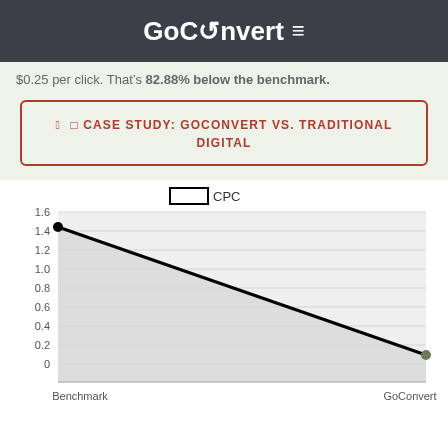GoConvert
$0.25 per click. That's 82.88% below the benchmark.
CASE STUDY: GOCONVERT VS. TRADITIONAL DIGITAL
[Figure (area-chart): CPC]